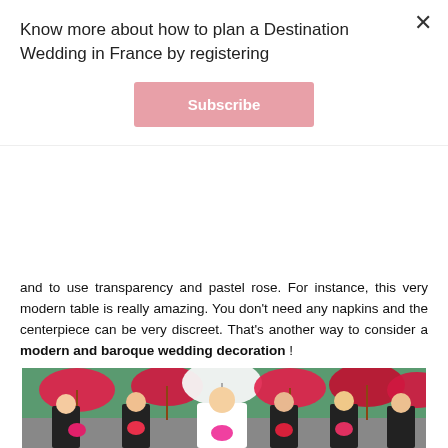Know more about how to plan a Destination Wedding in France by registering
Subscribe
and to use transparency and pastel rose. For instance, this very modern table is really amazing. You don't need any napkins and the centerpiece can be very discreet. That's another way to consider a modern and baroque wedding decoration !
[Figure (photo): Wedding party photo: bride in white gown surrounded by bridesmaids in black and white damask dresses holding pink and yellow bouquets, all holding large pink parasols outdoors]